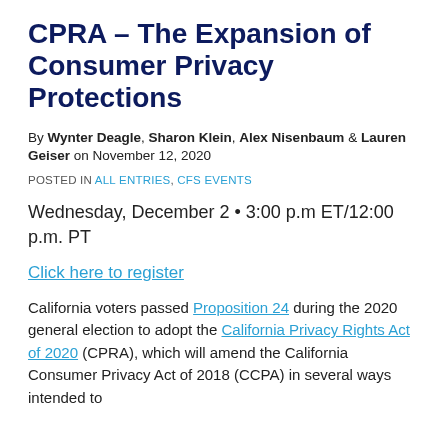CPRA – The Expansion of Consumer Privacy Protections
By Wynter Deagle, Sharon Klein, Alex Nisenbaum & Lauren Geiser on November 12, 2020
POSTED IN ALL ENTRIES, CFS EVENTS
Wednesday, December 2 • 3:00 p.m ET/12:00 p.m. PT
Click here to register
California voters passed Proposition 24 during the 2020 general election to adopt the California Privacy Rights Act of 2020 (CPRA), which will amend the California Consumer Privacy Act of 2018 (CCPA) in several ways intended to